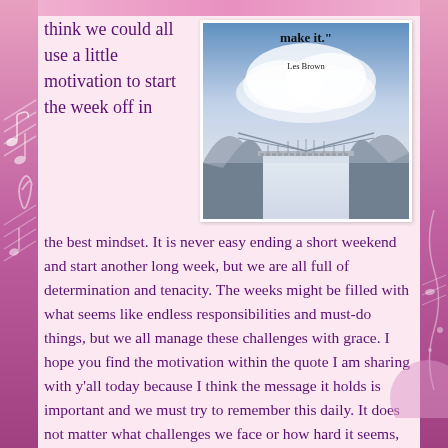[Figure (illustration): Inspirational quote image with bridge in misty landscape. Quote text: 'make it.' attributed to Les Brown. Dark rope bridge leading into cloudy sky.]
think we could all use a little motivation to start the week off in the best mindset. It is never easy ending a short weekend and start another long week, but we are all full of determination and tenacity. The weeks might be filled with what seems like endless responsibilities and must-do things, but we all manage these challenges with grace. I hope you find the motivation within the quote I am sharing with y'all today because I think the message it holds is important and we must try to remember this daily. It does not matter what challenges we face or how hard it seems, we will all make it through whatever is put on our shoulders. It is